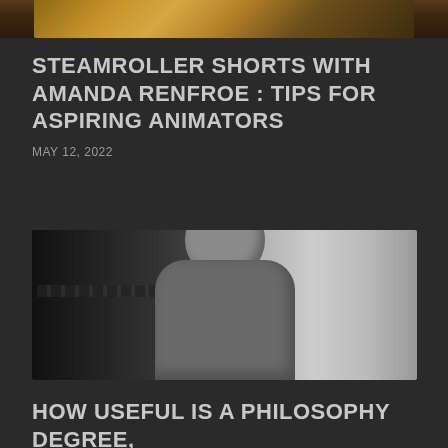[Figure (photo): Partial photo at top of page showing hands/arms, cropped]
STEAMROLLER SHORTS WITH AMANDA RENFROE : TIPS FOR ASPIRING ANIMATORS
MAY 12, 2022
[Figure (photo): Black and white photo of a man with stubble, wearing a dark henley shirt, seated in what appears to be a conference room or lounge, smiling slightly]
HOW USEFUL IS A PHILOSOPHY DEGREE,